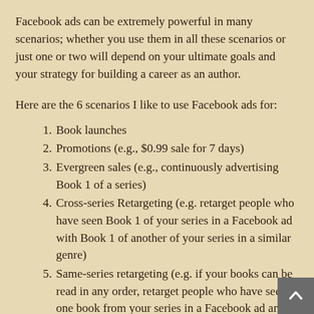Facebook ads can be extremely powerful in many scenarios; whether you use them in all these scenarios or just one or two will depend on your ultimate goals and your strategy for building a career as an author.
Here are the 6 scenarios I like to use Facebook ads for:
Book launches
Promotions (e.g., $0.99 sale for 7 days)
Evergreen sales (e.g., continuously advertising Book 1 of a series)
Cross-series Retargeting (e.g. retarget people who have seen Book 1 of your series in a Facebook ad with Book 1 of another of your series in a similar genre)
Same-series retargeting (e.g. if your books can be read in any order, retarget people who have seen one book from your series in a Facebook ad and show them another book from that